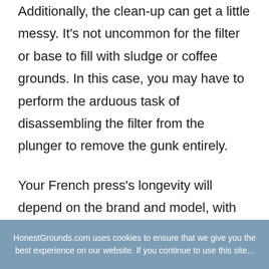Additionally, the clean-up can get a little messy. It's not uncommon for the filter or base to fill with sludge or coffee grounds. In this case, you may have to perform the arduous task of disassembling the filter from the plunger to remove the gunk entirely.
Your French press's longevity will depend on the brand and model, with more high-end presses lasting up to 10 years. However, no matter your press, it's recommended to replace your filter regularly for optimal upkeep.
HonestGrounds.com uses cookies to ensure that we give you the best experience on our website. If you continue to use this site...